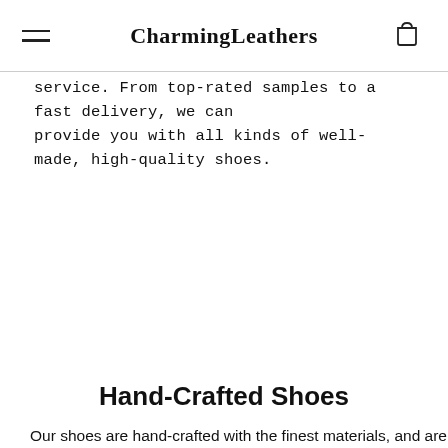CharmingLeathers
service. From top-rated samples to a fast delivery, we can provide you with all kinds of well-made, high-quality shoes.
Hand-Crafted Shoes
Our shoes are hand-crafted with the finest materials, and are